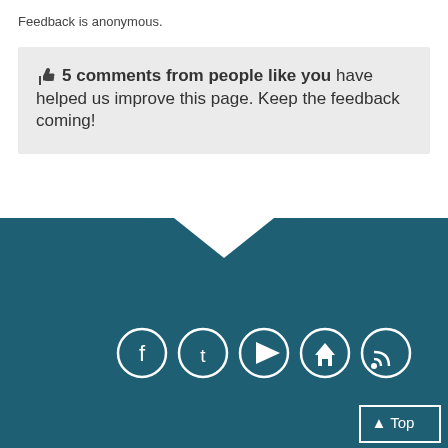Feedback is anonymous.
👍 5 comments from people like you have helped us improve this page. Keep the feedback coming!
[Figure (infographic): Dark teal footer with chevron/arrow pointing down, social media icons (Facebook, Twitter, YouTube, Home, RSS), and a 'Top' button in the bottom right corner.]